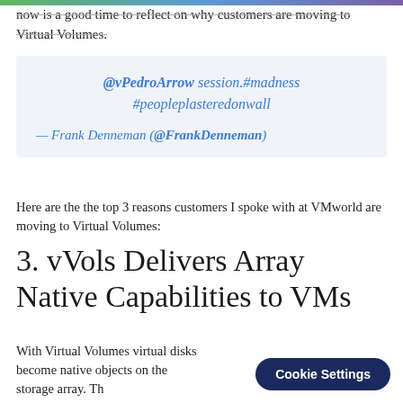now is a good time to reflect on why customers are moving to Virtual Volumes.
@vPedroArrow session.#madness #peopleplasteredonwall
— Frank Denneman (@FrankDenneman)
Here are the the top 3 reasons customers I spoke with at VMworld are moving to Virtual Volumes:
3. vVols Delivers Array Native Capabilities to VMs
With Virtual Volumes virtual disks become native objects on the storage array. Th VM operations like clones and s